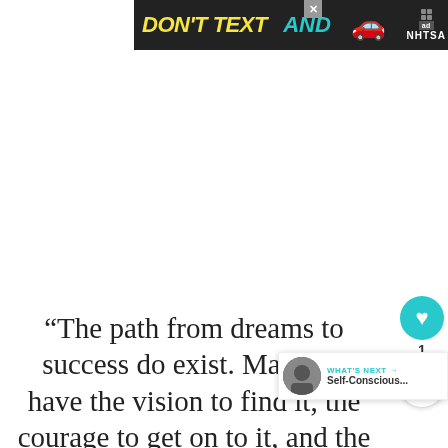[Figure (other): Advertisement banner: DON'T TEXT AND (car emoji) NHTSA ad with close button]
“The path from dreams to success do exist. May you have the vision to find it, the courage to get on to it, and the perseverance to follow it.” Kalpana